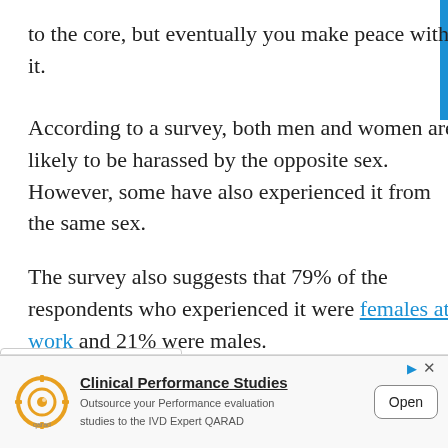to the core, but eventually you make peace with it.
According to a survey, both men and women are likely to be harassed by the opposite sex. However, some have also experienced it from the same sex.
The survey also suggests that 79% of the respondents who experienced it were females at work and 21% were males.
[Figure (other): Advertisement banner for QARAD Clinical Performance Studies with logo, text, and Open button]